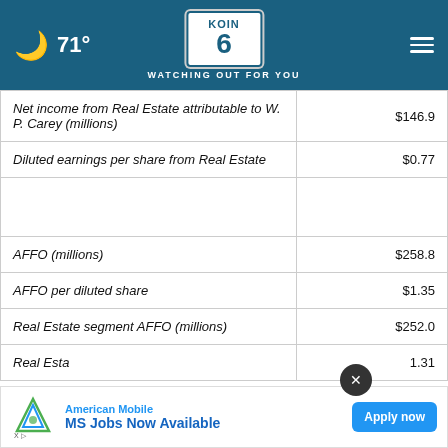🌙 71° | KOIN 6 | WATCHING OUT FOR YOU
|  |  |
| --- | --- |
| Net income from Real Estate attributable to W. P. Carey (millions) | $146.9 |
| Diluted earnings per share from Real Estate | $0.77 |
|  |  |
| AFFO (millions) | $258.8 |
| AFFO per diluted share | $1.35 |
| Real Estate segment AFFO (millions) | $252.0 |
| Real Esta... | ...1.31 |